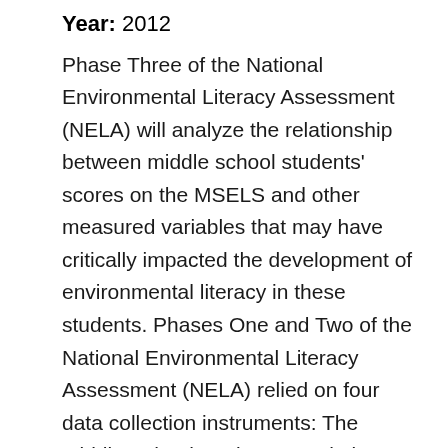Year: 2012
Phase Three of the National Environmental Literacy Assessment (NELA) will analyze the relationship between middle school students' scores on the MSELS and other measured variables that may have critically impacted the development of environmental literacy in these students. Phases One and Two of the National Environmental Literacy Assessment (NELA) relied on four data collection instruments: The Middle School Environmental Literacy Survey (MSELS), the School Information Form, the Program Information Form, and the Teacher